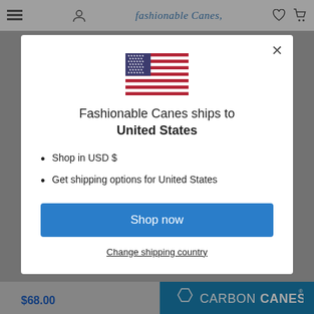fashionable Canes
[Figure (screenshot): US flag icon in modal dialog]
Fashionable Canes ships to United States
Shop in USD $
Get shipping options for United States
Shop now
Change shipping country
$68.00
[Figure (logo): Carbon Canes logo on blue background]